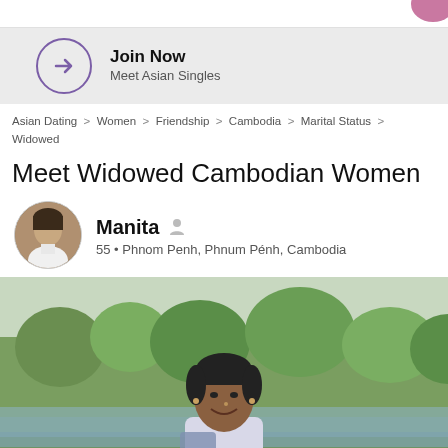[Figure (other): Partial top navigation bar with pink/purple logo element visible at top right]
[Figure (other): Join Now banner on grey background with purple circle arrow icon, text 'Join Now' and 'Meet Asian Singles']
Asian Dating > Women > Friendship > Cambodia > Marital Status > Widowed
Meet Widowed Cambodian Women
[Figure (photo): Circular profile avatar photo of Manita, a Cambodian woman, 55 years old]
Manita
55 • Phnom Penh, Phnum Pénh, Cambodia
[Figure (photo): Large photo of a smiling middle-aged Cambodian woman outdoors near a lake with trees in background]